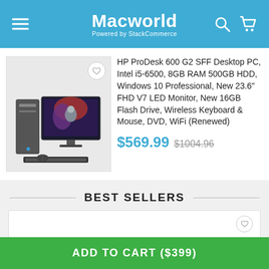Macworld — Powered by StackCommerce
[Figure (photo): HP ProDesk 600 G2 desktop PC with monitor, keyboard, and mouse]
HP ProDesk 600 G2 SFF Desktop PC, Intel i5-6500, 8GB RAM 500GB HDD, Windows 10 Professional, New 23.6" FHD V7 LED Monitor, New 16GB Flash Drive, Wireless Keyboard & Mouse, DVD, WiFi (Renewed)
$569.99 $1004.96
BEST SELLERS
ADD TO CART ($399)